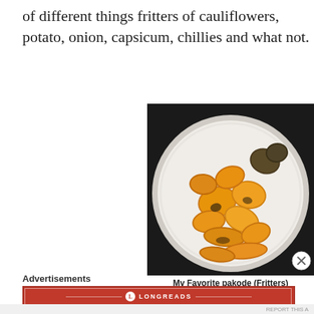of different things fritters of cauliflowers, potato, onion, capsicum, chillies and what not.
[Figure (photo): A white plate filled with golden-brown pakode (fritters) of various shapes, including some darker green herb fritters, photographed from above on a dark background.]
My Favorite pakode (Fritters)
Advertisements
[Figure (logo): Longreads advertisement banner: red background with Longreads logo and text 'The best stories on the web — ours, and everyone else's.']